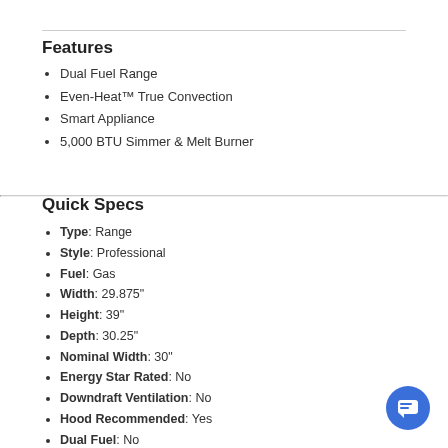Features
Dual Fuel Range
Even-Heat™ True Convection
Smart Appliance
5,000 BTU Simmer & Melt Burner
Quick Specs
Type: Range
Style: Professional
Fuel: Gas
Width: 29.875"
Height: 39"
Depth: 30.25"
Nominal Width: 30"
Energy Star Rated: No
Downdraft Ventilation: No
Hood Recommended: Yes
Dual Fuel: No
Burner Type: Sealed
Self Clean: No
Convection: Yes